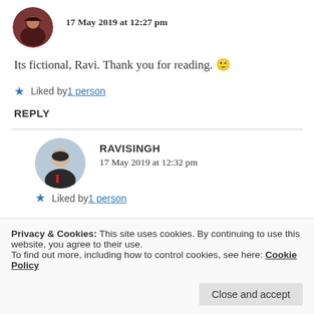17 May 2019 at 12:27 pm
Its fictional, Ravi. Thank you for reading. 🙂
★ Liked by 1 person
REPLY
RAVISINGH
17 May 2019 at 12:32 pm
★ Liked by 1 person
Privacy & Cookies: This site uses cookies. By continuing to use this website, you agree to their use.
To find out more, including how to control cookies, see here: Cookie Policy
Close and accept